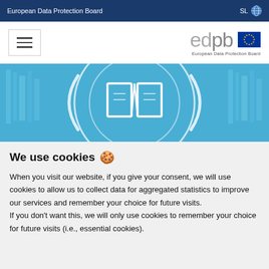European Data Protection Board | SL
[Figure (logo): EDPB logo with EU flag and text 'European Data Protection Board']
[Figure (illustration): Hero banner with book/library theme in blue tones with open book icon]
We use cookies 🍪
When you visit our website, if you give your consent, we will use cookies to allow us to collect data for aggregated statistics to improve our services and remember your choice for future visits.
If you don't want this, we will only use cookies to remember your choice for future visits (i.e., essential cookies).